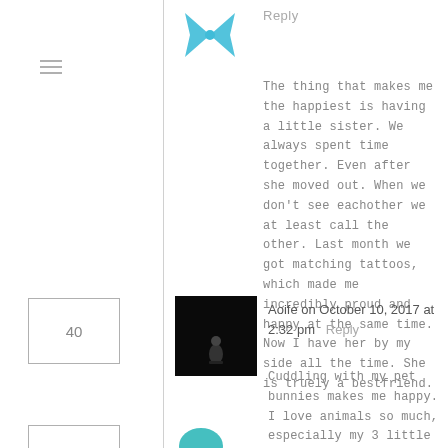Reply
The thing that makes me the happiest is having a little sister. We always spent time together. Even after she moved out. When we don't see eachother we at least call the other. Last month we got matching tattoos, which made me incredibly proud and happy at the same time. Now I have her by my side all the time. She is truely a bestfriend.
40
Aoife on October 10, 2017 at 2:32 pm   Reply
Cuddling with my pet bunnies makes me happy. I love animals so much, especially my 3 little nuggets 🐰💕